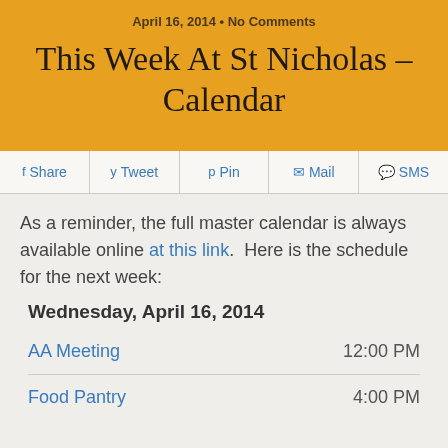April 16, 2014 • No Comments
This Week At St Nicholas – Calendar
Share  Tweet  Pin  Mail  SMS
As a reminder, the full master calendar is always available online at this link.  Here is the schedule for the next week:
Wednesday, April 16, 2014
AA Meeting  12:00 PM
Food Pantry  4:00 PM